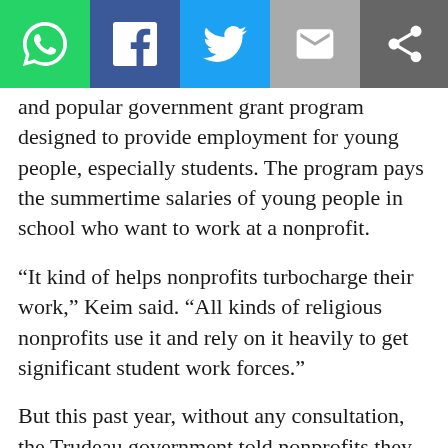Social media toolbar with WhatsApp, Facebook, Twitter, Email, Share buttons
and popular government grant program designed to provide employment for young people, especially students. The program pays the summertime salaries of young people in school who want to work at a nonprofit.
“It kind of helps nonprofits turbocharge their work,” Keim said. “All kinds of religious nonprofits use it and rely on it heavily to get significant student work forces.”
But this past year, without any consultation, the Trudeau government told nonprofits they could not use the program unless they had values or policies that respect women’s “reproductive rights” or other Canadian values.
“Part of neutrality in religion is not trying to control the internal policies of private religious organizations,” Keim